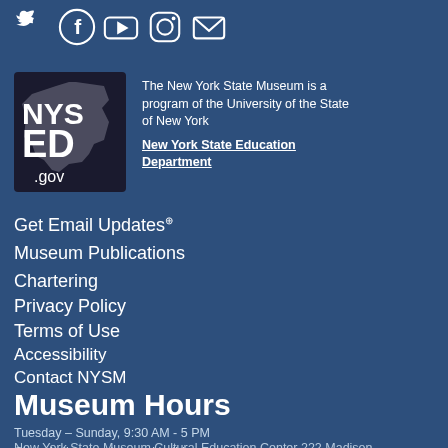[Figure (illustration): Social media icons row: Twitter bird, Facebook f, YouTube play button, Instagram camera, Email envelope — all white on dark blue background]
[Figure (logo): NYS ED .gov logo — white NYS ED text on dark background with outline of New York State in gray]
The New York State Museum is a program of the University of the State of New York
New York State Education Department
Get Email Updates
Museum Publications
Chartering
Privacy Policy
Terms of Use
Accessibility
Contact NYSM
Museum Hours
Tuesday - Sunday, 9:30 AM - 5 PM
Closed all state-observed holidays
New York State Museum Cultural Education Center 222 Madison